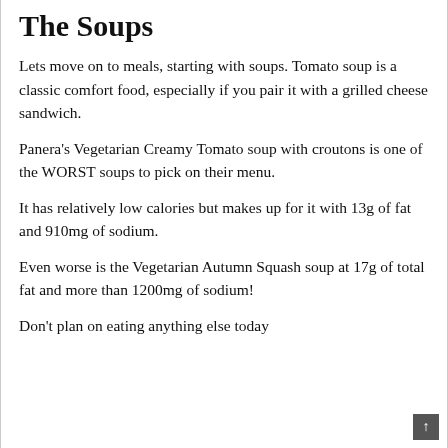The Soups
Lets move on to meals, starting with soups. Tomato soup is a classic comfort food, especially if you pair it with a grilled cheese sandwich.
Panera's Vegetarian Creamy Tomato soup with croutons is one of the WORST soups to pick on their menu.
It has relatively low calories but makes up for it with 13g of fat and 910mg of sodium.
Even worse is the Vegetarian Autumn Squash soup at 17g of total fat and more than 1200mg of sodium!
Don't plan on eating anything else today